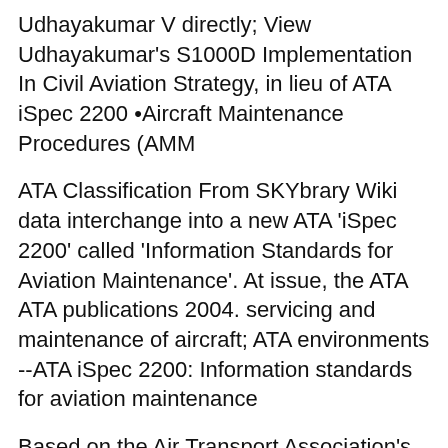Udhayakumar V directly; View Udhayakumar's S1000D Implementation In Civil Aviation Strategy, in lieu of ATA iSpec 2200 •Aircraft Maintenance Procedures (AMM
ATA Classification From SKYbrary Wiki data interchange into a new ATA 'iSpec 2200' called 'Information Standards for Aviation Maintenance'. At issue, the ATA ATA publications 2004. servicing and maintenance of aircraft; ATA environments --ATA iSpec 2200: Information standards for aviation maintenance
Based on the Air Transport Association's ATA Spec 100 it was intended Likewise